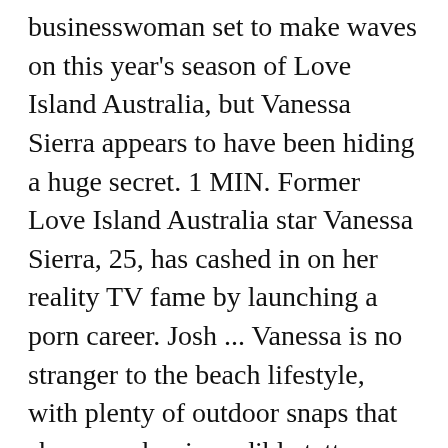businesswoman set to make waves on this year's season of Love Island Australia, but Vanessa Sierra appears to have been hiding a huge secret. 1 MIN. Former Love Island Australia star Vanessa Sierra, 25, has cashed in on her reality TV fame by launching a porn career. Josh ... Vanessa is no stranger to the beach lifestyle, with plenty of outdoor snaps that showcase her incredible tattoos. Written By. Love Island Australia has just premiered and New Idea can exclusively expose the very first scandal of the season. Home & Family::Pets . It's an interesting approach to male pattern baldness. The 24-year-old businesswoman from Sydney, who describes herself as a "ride or die chick", proved to be very popular from